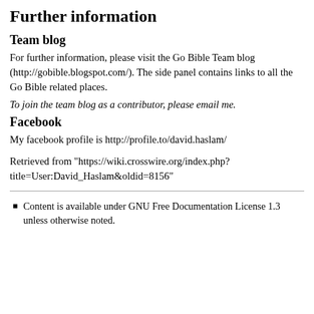Further information
Team blog
For further information, please visit the Go Bible Team blog (http://gobible.blogspot.com/). The side panel contains links to all the Go Bible related places.
To join the team blog as a contributor, please email me.
Facebook
My facebook profile is http://profile.to/david.haslam/
Retrieved from "https://wiki.crosswire.org/index.php?title=User:David_Haslam&oldid=8156"
Content is available under GNU Free Documentation License 1.3 unless otherwise noted.